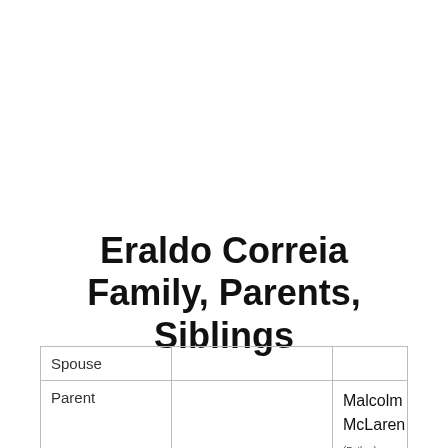Eraldo Correia Family, Parents, Siblings
|  |  |  |
| --- | --- | --- |
| Spouse |  |  |
| Parent |  | Malcolm McLaren (Father)
Dame Vivienne Westwood (mother) |